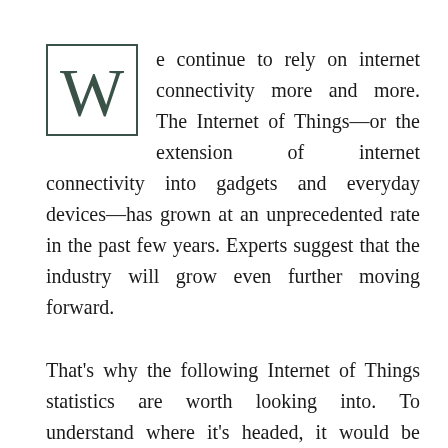We continue to rely on internet connectivity more and more. The Internet of Things—or the extension of internet connectivity into gadgets and everyday devices—has grown at an unprecedented rate in the past few years. Experts suggest that the industry will grow even further moving forward.
That's why the following Internet of Things statistics are worth looking into. To understand where it's headed, it would be proper to check out its current state. The data you'll find here offers deep insights into our reliance on digital technology, as well as our habits when it comes to all things related to the